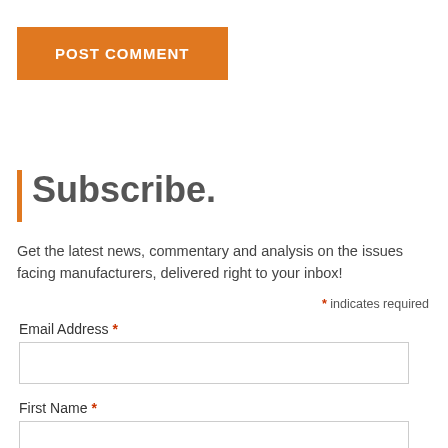POST COMMENT
Subscribe.
Get the latest news, commentary and analysis on the issues facing manufacturers, delivered right to your inbox!
* indicates required
Email Address *
First Name *